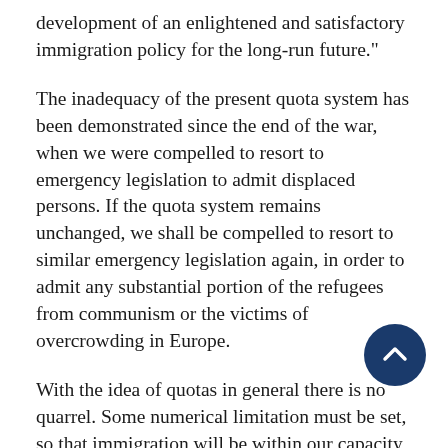development of an enlightened and satisfactory immigration policy for the long-run future."
The inadequacy of the present quota system has been demonstrated since the end of the war, when we were compelled to resort to emergency legislation to admit displaced persons. If the quota system remains unchanged, we shall be compelled to resort to similar emergency legislation again, in order to admit any substantial portion of the refugees from communism or the victims of overcrowding in Europe.
With the idea of quotas in general there is no quarrel. Some numerical limitation must be set, so that immigration will be within our capacity to absorb. But the overall limitation of numbers imposed by the national origins quota system is too small for our needs today, and the country by country limitations create a pattern is insulting to large numbers of our finest citizens, ng to our allies abroad, and foreign to our purposes and ideals.